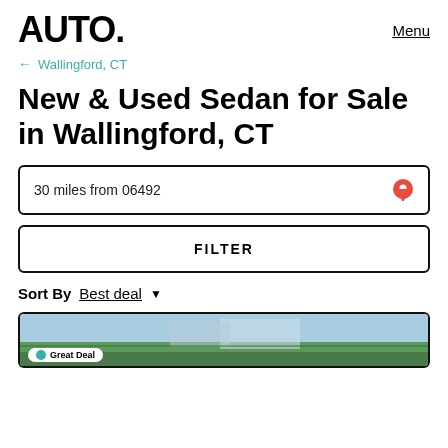AUTO.
Menu
← Wallingford, CT
New & Used Sedan for Sale in Wallingford, CT
30 miles from 06492
FILTER
Sort By  Best deal
[Figure (photo): Partial view of a car listing card showing a landscape photo at the bottom of the page, with a 'Great Deal' badge visible at bottom left.]